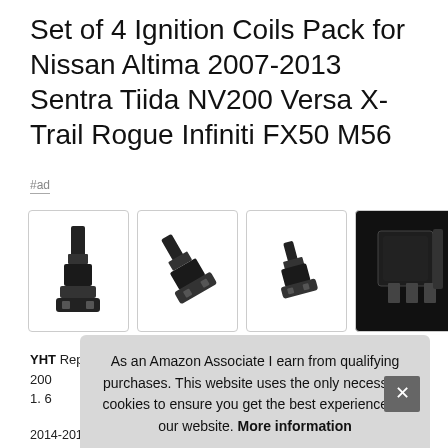Set of 4 Ignition Coils Pack for Nissan Altima 2007-2013 Sentra Tiida NV200 Versa X-Trail Rogue Infiniti FX50 M56
#ad
[Figure (photo): Four product images showing ignition coils from different angles: front view upright coil, angled coil view, small coil view, and close-up of connector/plug end]
YHT... Replaces ... 2007-2013 ... 1.6...
As an Amazon Associate I earn from qualifying purchases. This website uses the only necessary cookies to ensure you get the best experience on our website. More information
2014-2019 v8, qx60 2014-201/ l4, q/0l 2015-2019 v8, m56